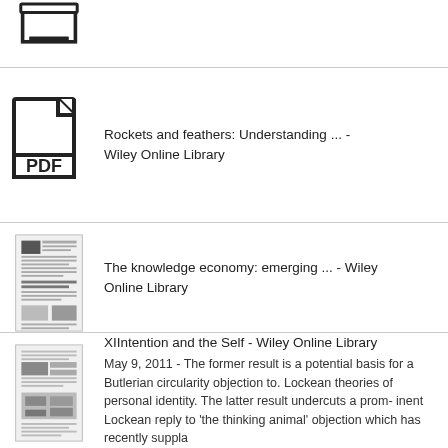[Figure (illustration): Partial view of a document/inbox tray icon at the top of the page (cropped)]
Rockets and feathers: Understanding ... - Wiley Online Library
The knowledge economy: emerging ... - Wiley Online Library
XIIntention and the Self - Wiley Online Library
May 9, 2011 - The former result is a potential basis for a Butlerian circularity objection to. Lockean theories of personal identity. The latter result undercuts a prom- inent Lockean reply to 'the thinking animal' objection which has recently suppla